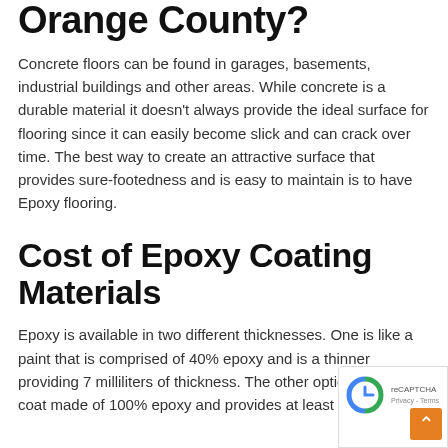Orange County?
Concrete floors can be found in garages, basements, industrial buildings and other areas. While concrete is a durable material it doesn't always provide the ideal surface for flooring since it can easily become slick and can crack over time. The best way to create an attractive surface that provides sure-footedness and is easy to maintain is to have Epoxy flooring.
Cost of Epoxy Coating Materials
Epoxy is available in two different thicknesses. One is like a paint that is comprised of 40% epoxy and is a thinner providing 7 milliliters of thickness. The other option is thicker coat made of 100% epoxy and provides at least 10